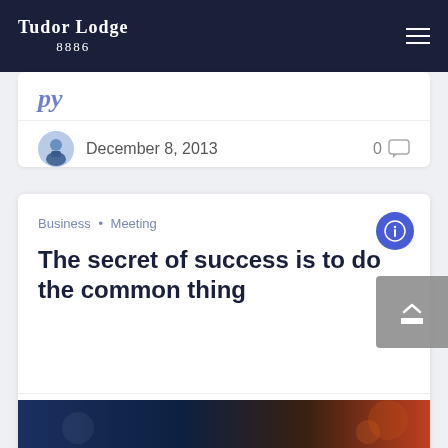Tudor Lodge 8886
December 8, 2013    0
Business • Meeting
The secret of success is to do the common thing
December 8, 2013    0
[Figure (photo): Partial image strip at the bottom of the page showing a dark blue and orange toned photo]